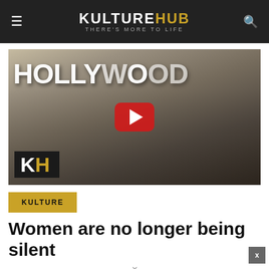KULTUREHUB THERE'S MORE TO LIFE
[Figure (screenshot): Video thumbnail with Hollywood sign in background, three women posing, KH logo in lower left, red YouTube play button in center]
KULTURE
Women are no longer being silent